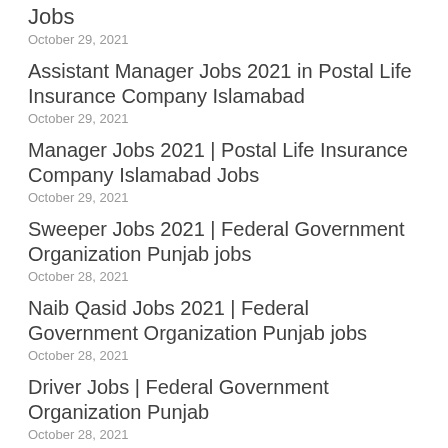Jobs
October 29, 2021
Assistant Manager Jobs 2021 in Postal Life Insurance Company Islamabad
October 29, 2021
Manager Jobs 2021 | Postal Life Insurance Company Islamabad Jobs
October 29, 2021
Sweeper Jobs 2021 | Federal Government Organization Punjab jobs
October 28, 2021
Naib Qasid Jobs 2021 | Federal Government Organization Punjab jobs
October 28, 2021
Driver Jobs | Federal Government Organization Punjab
October 28, 2021
Medical officer Jobs 2021 | Faisalabad Institute of Cardiology jobs
October 28, 2021